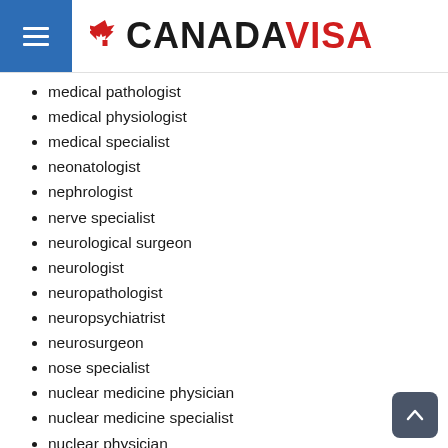CANADAVISA
medical pathologist
medical physiologist
medical specialist
neonatologist
nephrologist
nerve specialist
neurological surgeon
neurologist
neuropathologist
neuropsychiatrist
neurosurgeon
nose specialist
nuclear medicine physician
nuclear medicine specialist
nuclear physician
obstetrician
obstetrician-gynecologist
occupational health physician (OHP)
occupational medicine specialist